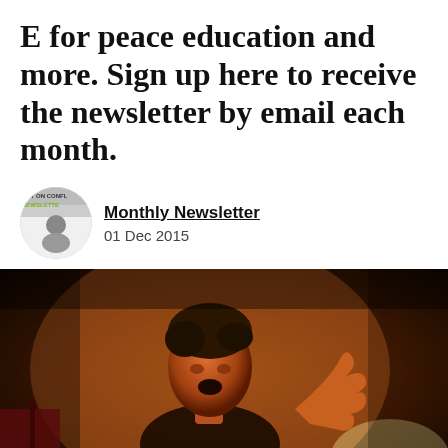E for peace education and more. Sign up here to receive the newsletter by email each month.
Monthly Newsletter
01 Dec 2015
[Figure (photo): A young man at a protest or rally, mouth open as if shouting, illuminated by warm orange light at night, with blurred background showing flags and a crowd.]